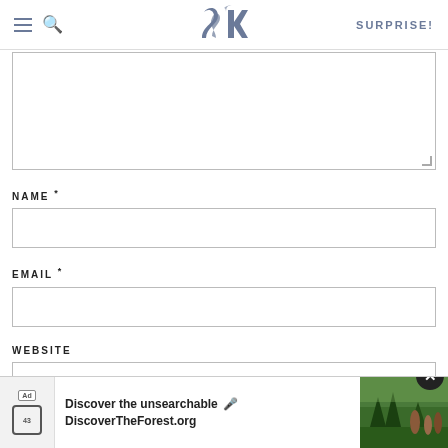SK — SURPRISE!
[Figure (other): Large text area / comment box input field]
NAME *
[Figure (other): Name text input field]
EMAIL *
[Figure (other): Email text input field]
WEBSITE
[Figure (other): Website text input field]
[Figure (other): Advertisement banner: Discover the unsearchable / DiscoverTheForest.org with close button and forest photo]